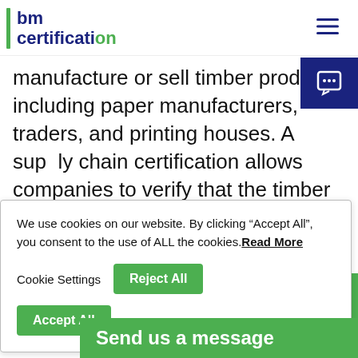bm certification
manufacture or sell timber products, including paper manufacturers, traders, and printing houses. A supply chain certification allows companies to verify that the timber used in production comes from well-managed forests, considering economic, ecological, and social aspects.
We use cookies on our website. By clicking “Accept All”, you consent to the use of ALL the cookies. Read More
Cookie Settings
Reject All
Accept All
...rtified, all ...rocessing, ...must be ...f custody ...itled to use
...p... Send us a message